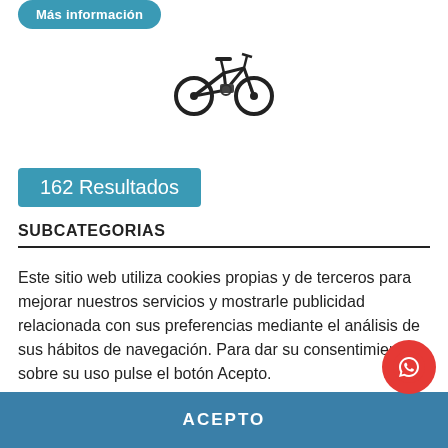[Figure (other): Teal rounded button labeled 'Más información']
[Figure (illustration): Black electric mountain bicycle illustration]
162 Resultados
SUBCATEGORIAS
Este sitio web utiliza cookies propias y de terceros para mejorar nuestros servicios y mostrarle publicidad relacionada con sus preferencias mediante el análisis de sus hábitos de navegación. Para dar su consentimiento sobre su uso pulse el botón Acepto.
Más información   Gestionar cookies
ACEPTO
[Figure (logo): Red circular WhatsApp button icon]